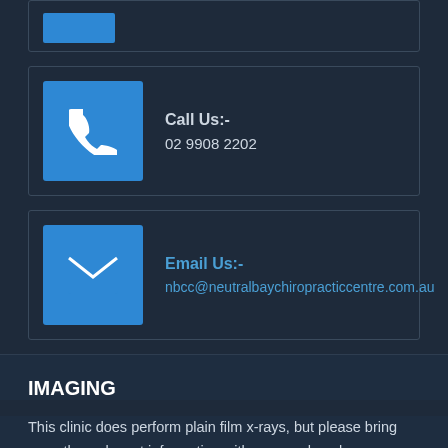[Figure (infographic): Partial card with blue icon box (cut off at top of page)]
Call Us:-
02 9908 2202
Email Us:-
nbcc@neutralbaychiropracticcentre.com.au
IMAGING
This clinic does perform plain film x-rays, but please bring any other relevant information with you, such as bone density studies, CT scans and MRI scans.